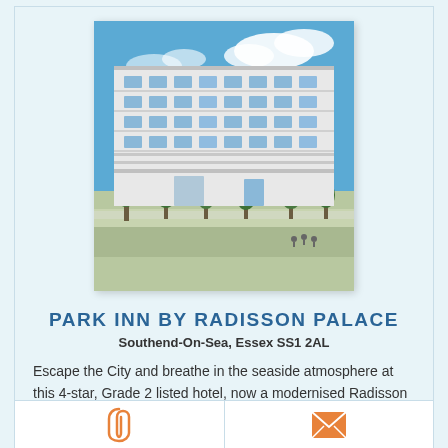[Figure (photo): Exterior photo of Park Inn by Radisson Palace hotel, a large white multi-storey building with balconies, blue sky with clouds, and trees/promenade in foreground]
PARK INN BY RADISSON PALACE
Southend-On-Sea, Essex SS1 2AL
Escape the City and breathe in the seaside atmosphere at this 4-star, Grade 2 listed hotel, now a modernised Radisson Park Inn, a charming historic building with stunning views, superb facilities and a...
Distance: 12.42 Miles
Max: 300 guests
[Figure (illustration): Paperclip icon (orange) on left side of bottom bar]
[Figure (illustration): Envelope icon (orange) on right side of bottom bar]